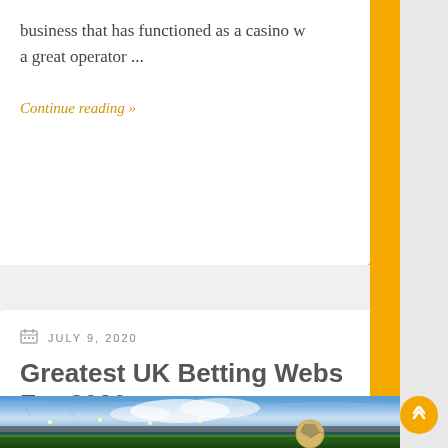business that has functioned as a casino w... a great operator ...
Continue reading »
JULY 9, 2020
Greatest UK Betting Webs... For 2020
[Figure (photo): Football stadium interior with a soccer ball in the foreground, blue sky through the glass roof, stadium lights illuminated]